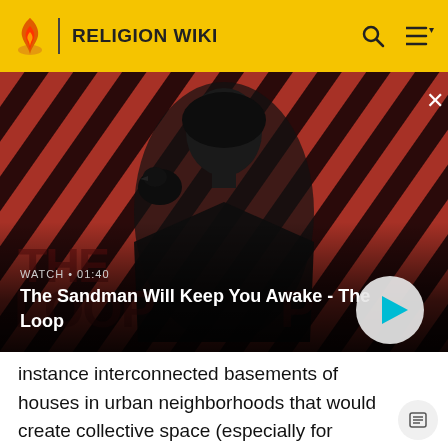RELIGION WIKI
[Figure (screenshot): Video thumbnail showing a dark figure with a raven on their shoulder against a red and black diagonal striped background. Text overlay reads 'WATCH • 01:40' and title 'The Sandman Will Keep You Awake - The Loop' with a play button.]
WATCH • 01:40 — The Sandman Will Keep You Awake - The Loop
instance interconnected basements of houses in urban neighborhoods that would create collective space (especially for holidays), while providing the level of privacy secular life had encouraged. Some of these ideas have influenced urban economics.